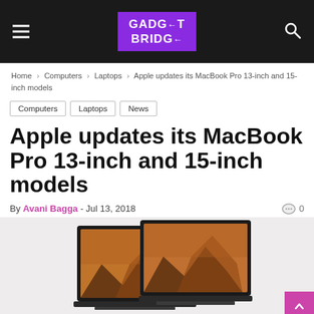GADGET BRIDGE
Home › Computers › Laptops › Apple updates its MacBook Pro 13-inch and 15-inch models
Computers
Laptops
News
Apple updates its MacBook Pro 13-inch and 15-inch models
By Avani Bagga - Jul 13, 2018   0
[Figure (photo): Two MacBook Pro laptops (13-inch and 15-inch models) showing a mountain landscape wallpaper on their screens, displayed against a light grey background]